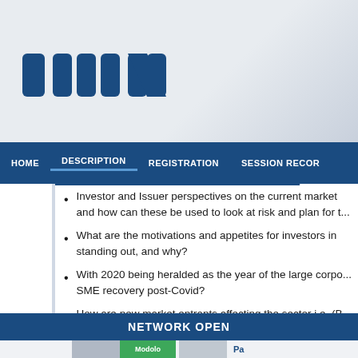[Figure (logo): IWN logo in dark blue block letters on light grey gradient background]
HOME | DESCRIPTION | REGISTRATION | SESSION RECOR...
Investor and Issuer perspectives on the current market and how can these be used to look at risk and plan for t...
What are the motivations and appetites for investors in standing out, and why?
With 2020 being heralded as the year of the large corpo... SME recovery post-Covid?
How are new market entrants affecting the sector i.e. (B... bilateral trades and mezz development?
NETWORK OPEN
[Figure (photo): Bottom strip showing partial photos of speakers including one with name Modolo on green background]